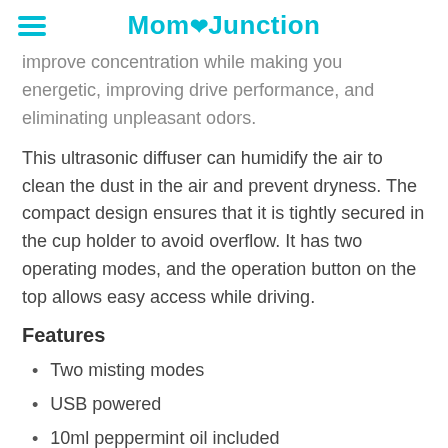MomJunction
improve concentration while making you energetic, improving drive performance, and eliminating unpleasant odors.
This ultrasonic diffuser can humidify the air to clean the dust in the air and prevent dryness. The compact design ensures that it is tightly secured in the cup holder to avoid overflow. It has two operating modes, and the operation button on the top allows easy access while driving.
Features
Two misting modes
USB powered
10ml peppermint oil included